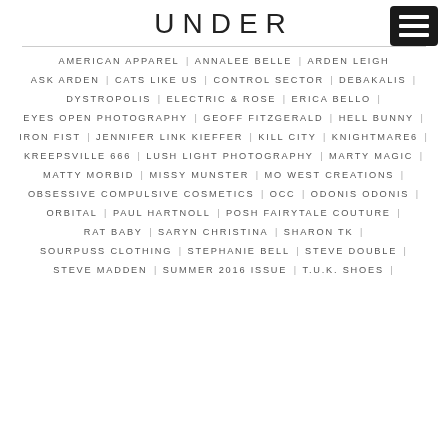UNDER
AMERICAN APPAREL | ANNALEE BELLE | ARDEN LEIGH
ASK ARDEN | CATS LIKE US | CONTROL SECTOR | DEBAKALIS |
DYSTROPOLIS | ELECTRIC & ROSE | ERICA BELLO |
EYES OPEN PHOTOGRAPHY | GEOFF FITZGERALD | HELL BUNNY |
IRON FIST | JENNIFER LINK KIEFFER | KILL CITY | KNIGHTMARE6 |
KREEPSVILLE 666 | LUSH LIGHT PHOTOGRAPHY | MARTY MAGIC |
MATTY MORBID | MISSY MUNSTER | MO WEST CREATIONS |
OBSESSIVE COMPULSIVE COSMETICS | OCC | ODONIS ODONIS |
ORBITAL | PAUL HARTNOLL | POSH FAIRYTALE COUTURE |
RAT BABY | SARYN CHRISTINA | SHARON TK |
SOURPUSS CLOTHING | STEPHANIE BELL | STEVE DOUBLE |
STEVE MADDEN | SUMMER 2016 ISSUE | T.U.K. SHOES |